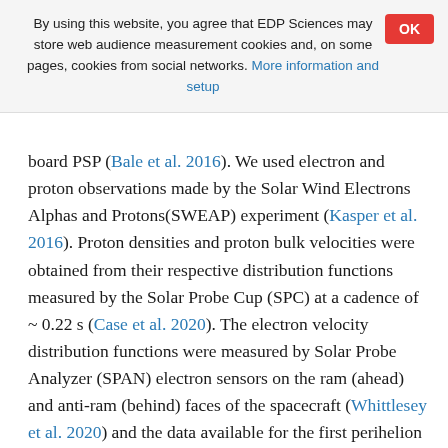By using this website, you agree that EDP Sciences may store web audience measurement cookies and, on some pages, cookies from social networks. More information and setup
board PSP (Bale et al. 2016). We used electron and proton observations made by the Solar Wind Electrons Alphas and Protons(SWEAP) experiment (Kasper et al. 2016). Proton densities and proton bulk velocities were obtained from their respective distribution functions measured by the Solar Probe Cup (SPC) at a cadence of ~ 0.22 s (Case et al. 2020). The electron velocity distribution functions were measured by Solar Probe Analyzer (SPAN) electron sensors on the ram (ahead) and anti-ram (behind) faces of the spacecraft (Whittlesey et al. 2020) and the data available for the first perihelion was of ~ 28 s cadence.
We used the 4 Hz magnetic field data and interpolated